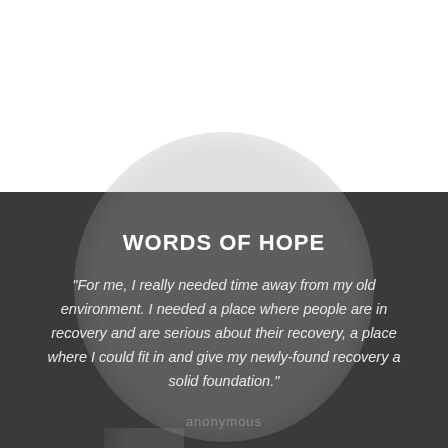WORDS OF HOPE
"For me, I really needed time away from my old environment. I needed a place where people are in recovery and are serious about their recovery, a place where I could fit in and give my newly-found recovery a solid foundation."
anonymous